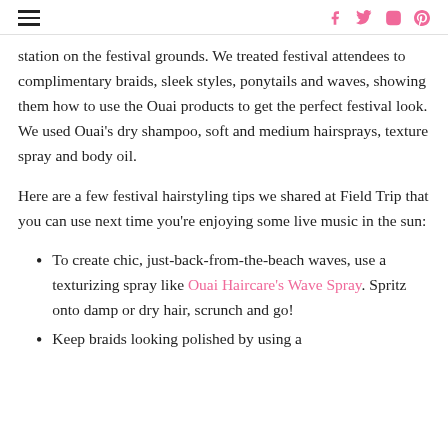navigation menu and social icons (Facebook, Twitter, Instagram, Pinterest)
station on the festival grounds. We treated festival attendees to complimentary braids, sleek styles, ponytails and waves, showing them how to use the Ouai products to get the perfect festival look. We used Ouai's dry shampoo, soft and medium hairsprays, texture spray and body oil.
Here are a few festival hairstyling tips we shared at Field Trip that you can use next time you're enjoying some live music in the sun:
To create chic, just-back-from-the-beach waves, use a texturizing spray like Ouai Haircare's Wave Spray. Spritz onto damp or dry hair, scrunch and go!
Keep braids looking polished by using a...